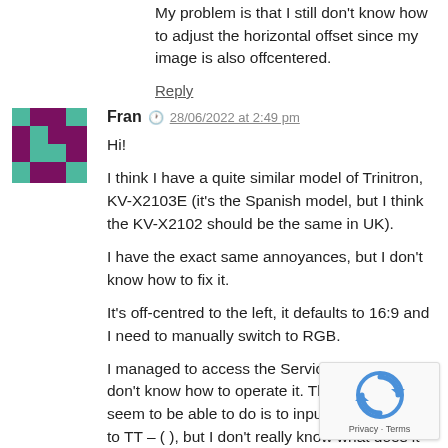My problem is that I still don't know how to adjust the horizontal offset since my image is also offcentered.
Reply
[Figure (illustration): Avatar icon for user Fran — a pixel-art style logo with dark magenta/purple background and teal/green geometric shapes forming an abstract pattern.]
Fran  28/06/2022 at 2:49 pm
Hi!
I think I have a quite similar model of Trinitron, KV-X2103E (it's the Spanish model, but I think the KV-X2102 should be the same in UK).
I have the exact same annoyances, but I don't know how to fix it.
It's off-centred to the left, it defaults to 16:9 and I need to manually switch to RGB.
I managed to access the Service Menu, but I don't know how to operate it. The only thing I seem to be able to do is to input a number next to TT – ( ), but I don't really know what does it do.
I'd really appreciate your help.
[Figure (logo): reCAPTCHA badge with circular arrow logo and Privacy · Terms text]